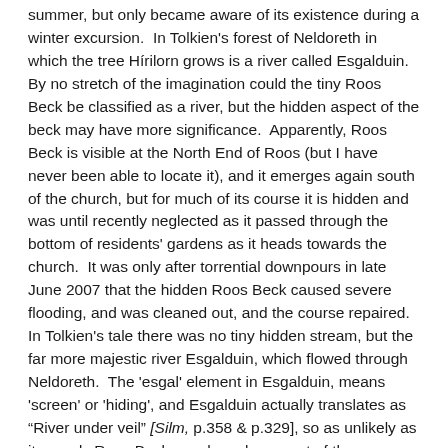summer, but only became aware of its existence during a winter excursion.  In Tolkien's forest of Neldoreth in which the tree Hírilorn grows is a river called Esgalduin.  By no stretch of the imagination could the tiny Roos Beck be classified as a river, but the hidden aspect of the beck may have more significance.  Apparently, Roos Beck is visible at the North End of Roos (but I have never been able to locate it), and it emerges again south of the church, but for much of its course it is hidden and was until recently neglected as it passed through the bottom of residents' gardens as it heads towards the church.  It was only after torrential downpours in late June 2007 that the hidden Roos Beck caused severe flooding, and was cleaned out, and the course repaired.  In Tolkien's tale there was no tiny hidden stream, but the far more majestic river Esgalduin, which flowed through Neldoreth.  The 'esgal' element in Esgalduin, means 'screen' or 'hiding', and Esgalduin actually translates as "River under veil" [Silm, p.358 & p.329], so as unlikely as it sounds Roos Beck may have been part of the "cauldron of soup" in the back of Tolkien's mind when he created the far more magical River Esgalduin.